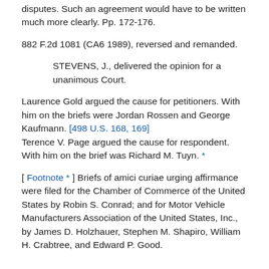disputes. Such an agreement would have to be written much more clearly. Pp. 172-176.
882 F.2d 1081 (CA6 1989), reversed and remanded.
STEVENS, J., delivered the opinion for a unanimous Court.
Laurence Gold argued the cause for petitioners. With him on the briefs were Jordan Rossen and George Kaufmann. [498 U.S. 168, 169]
Terence V. Page argued the cause for respondent. With him on the brief was Richard M. Tuyn. *
[ Footnote * ] Briefs of amici curiae urging affirmance were filed for the Chamber of Commerce of the United States by Robin S. Conrad; and for Motor Vehicle Manufacturers Association of the United States, Inc., by James D. Holzhauer, Stephen M. Shapiro, William H. Crabtree, and Edward P. Good.